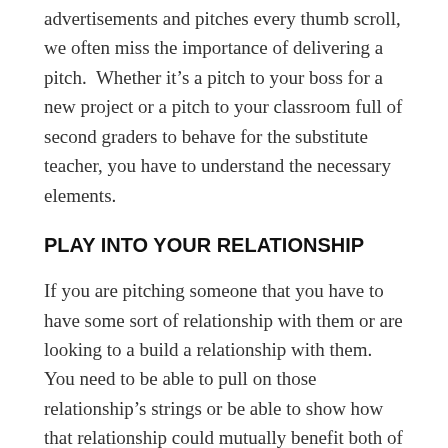advertisements and pitches every thumb scroll, we often miss the importance of delivering a pitch.  Whether it's a pitch to your boss for a new project or a pitch to your classroom full of second graders to behave for the substitute teacher, you have to understand the necessary elements.
PLAY INTO YOUR RELATIONSHIP
If you are pitching someone that you have to have some sort of relationship with them or are looking to a build a relationship with them.  You need to be able to pull on those relationship's strings or be able to show how that relationship could mutually benefit both of you.